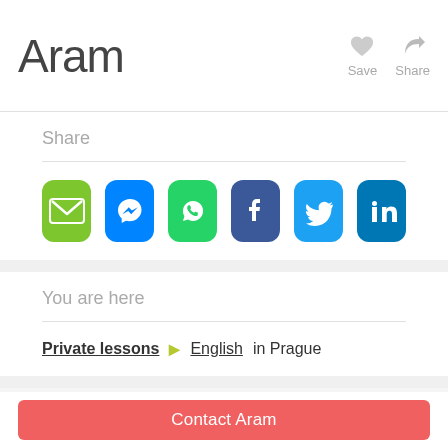Aram
Save  Share
Share
[Figure (screenshot): Row of 6 social sharing icons: Email (green), Messenger (blue), WhatsApp (green), Facebook (dark blue), Twitter (light blue), LinkedIn (blue)]
You are here
Private lessons ▶ English in Prague
Similar classes
Contact Aram